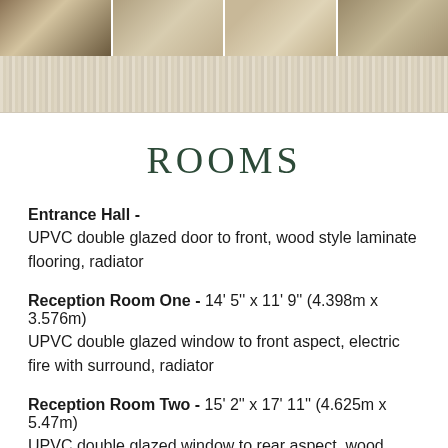[Figure (photo): Strip of four property interior/exterior photos at top of page]
ROOMS
Entrance Hall - UPVC double glazed door to front, wood style laminate flooring, radiator
Reception Room One - 14' 5" x 11' 9" (4.398m x 3.576m) UPVC double glazed window to front aspect, electric fire with surround, radiator
Reception Room Two - 15' 2" x 17' 11" (4.625m x 5.47m) UPVC double glazed window to rear aspect, wood style laminate flooring, electric fire with surround